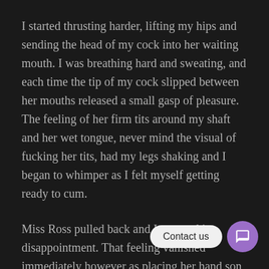I started thrusting harder, lifting my hips and sending the head of my cock into her waiting mouth. I was breathing hard and sweating, and each time the tip of my cock slipped between her mouths released a small gasp of pleasure. The feeling of her firm tits around my shaft and her wet tongue, never mind the visual of fucking her tits, had my legs shaking and I began to whimper as I felt myself getting ready to cum.
Miss Ross pulled back and I groaned in disappointment. That feeling vanished immediately however as placing her hand son my thighs, she took my cock all the way down to my balls. After a brief pause to allow me to enjoy the sight of my cock buried in her mouth, she began to bob her head rapidly. I moaned loudly as I watched her repeatedly deep throat my cock.. , reached out and wrapping my hands in her thick hair,